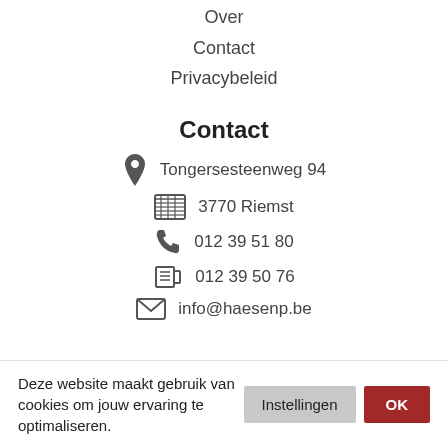Over
Contact
Privacybeleid
Contact
📍 Tongersesteenweg 94
🏢 3770 Riemst
📞 012 39 51 80
📠 012 39 50 76
✉ info@haesenp.be
Deze website maakt gebruik van cookies om jouw ervaring te optimaliseren.